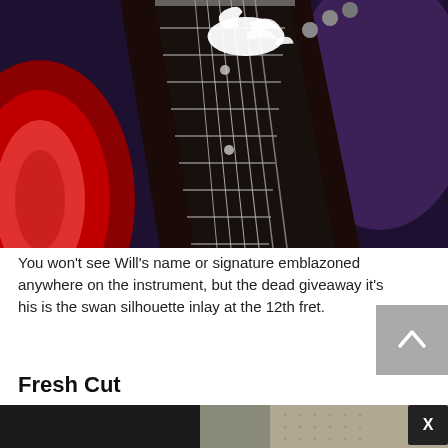[Figure (photo): Close-up photo of an electric guitar neck/fretboard with a white swan silhouette inlay visible at the 12th fret. The guitar body is red and the background is dark purple/black.]
You won't see Will's name or signature emblazoned anywhere on the instrument, but the dead giveaway it's his is the swan silhouette inlay at the 12th fret.
Fresh Cut
[Figure (photo): Partial bottom photo showing guitars or musical equipment, dark tones.]